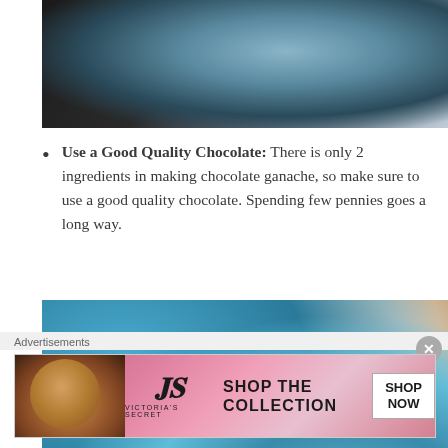[Figure (photo): Close-up photo of liquid being poured onto a powdery/grainy surface, with a blue teal color stream visible against dark and light background]
Use a Good Quality Chocolate: There is only 2 ingredients in making chocolate ganache, so make sure to use a good quality chocolate. Spending few pennies goes a long way.
[Figure (photo): Overhead view of a teal/light blue coffee mug filled with dark coffee, alongside a plate with food items and cream, on a light surface]
Advertisements
[Figure (photo): Victoria's Secret advertisement banner showing a model with curly hair, VS logo, text 'SHOP THE COLLECTION', and a white 'SHOP NOW' button]